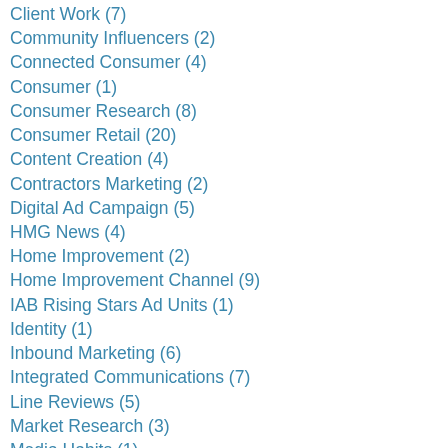Client Work (7)
Community Influencers (2)
Connected Consumer (4)
Consumer (1)
Consumer Research (8)
Consumer Retail (20)
Content Creation (4)
Contractors Marketing (2)
Digital Ad Campaign (5)
HMG News (4)
Home Improvement (2)
Home Improvement Channel (9)
IAB Rising Stars Ad Units (1)
Identity (1)
Inbound Marketing (6)
Integrated Communications (7)
Line Reviews (5)
Market Research (3)
Media Habits (1)
Merchandising (10)